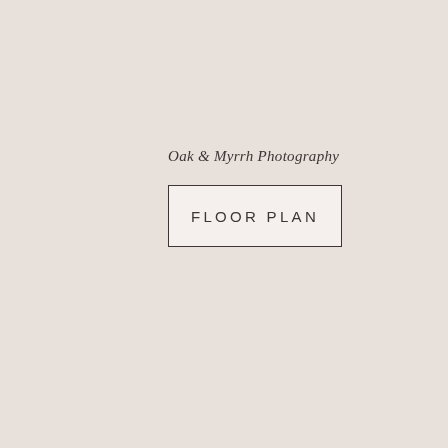Oak & Myrrh Photography
FLOOR PLAN